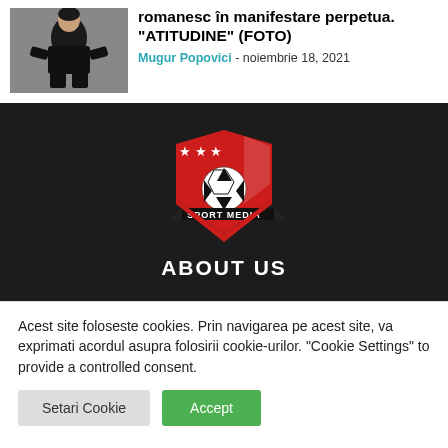[Figure (photo): Photo of a person in dark clothing, crouching pose]
romanesc in manifestare perpetua. "ATITUDINE" (FOTO)
Mugur Popovici - noiembrie 18, 2021
[Figure (logo): Sport Media logo: red shield with three stars, soccer ball, and SPORT MEDIA banner text]
ABOUT US
Acest site foloseste cookies. Prin navigarea pe acest site, va exprimati acordul asupra folosirii cookie-urilor. "Cookie Settings" to provide a controlled consent.